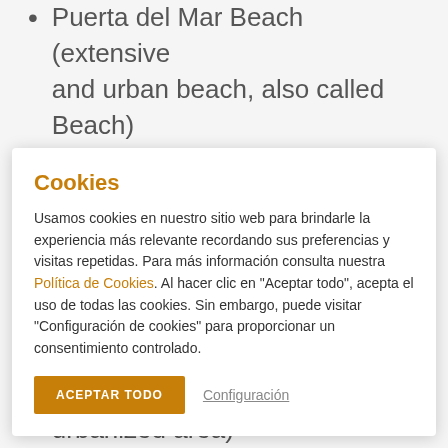Puerta del Mar Beach (extensive and urban beach, also called Beach)
Cookies
Usamos cookies en nuestro sitio web para brindarle la experiencia más relevante recordando sus preferencias y visitas repetidas. Para más información consulta nuestra Política de Cookies. Al hacer clic en "Aceptar todo", acepta el uso de todas las cookies. Sin embargo, puede visitar "Configuración de cookies" para proporcionar un consentimiento controlado.
ACEPTAR TODO   Configuración
El Tesorillo Beach (small beach, frequented and located in an urbanized area)